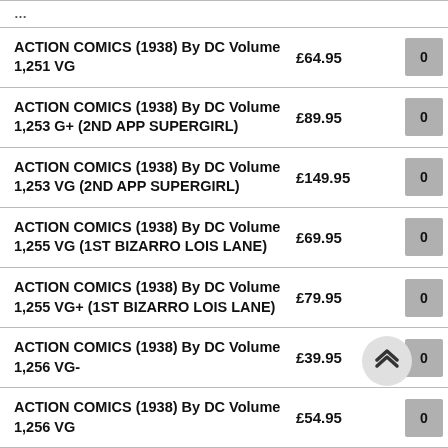| Item | Price |  |
| --- | --- | --- |
| ACTION COMICS (1938) By DC Volume 1,251 VG | £64.95 | 0 |
| ACTION COMICS (1938) By DC Volume 1,253 G+ (2ND APP SUPERGIRL) | £89.95 | 0 |
| ACTION COMICS (1938) By DC Volume 1,253 VG (2ND APP SUPERGIRL) | £149.95 | 0 |
| ACTION COMICS (1938) By DC Volume 1,255 VG (1ST BIZARRO LOIS LANE) | £69.95 | 0 |
| ACTION COMICS (1938) By DC Volume 1,255 VG+ (1ST BIZARRO LOIS LANE) | £79.95 | 0 |
| ACTION COMICS (1938) By DC Volume 1,256 VG- | £39.95 | 0 |
| ACTION COMICS (1938) By DC Volume 1,256 VG | £54.95 | 0 |
| ACTION COMICS (1938) By DC Volume 1,257 VG- | £39.95 | 0 |